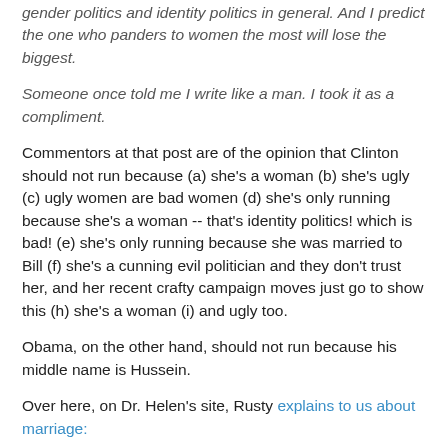gender politics and identity politics in general. And I predict the one who panders to women the most will lose the biggest.
Someone once told me I write like a man. I took it as a compliment.
Commentors at that post are of the opinion that Clinton should not run because (a) she's a woman (b) she's ugly (c) ugly women are bad women (d) she's only running because she's a woman -- that's identity politics! which is bad! (e) she's only running because she was married to Bill (f) she's a cunning evil politician and they don't trust her, and her recent crafty campaign moves just go to show this (h) she's a woman (i) and ugly too.
Obama, on the other hand, should not run because his middle name is Hussein.
Over here, on Dr. Helen's site, Rusty explains to us about marriage: